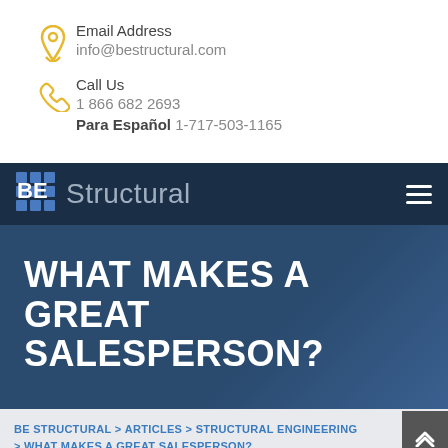Email Address
info@bestructural.com
Call Us
1 866 682 2693
Para Español 1-717-503-1165
[Figure (logo): BE Structural logo with grid icon on dark navy background with hamburger menu icon]
WHAT MAKES A GREAT SALESPERSON?
BE STRUCTURAL > ARTICLES > STRUCTURAL ENGINEERING > WHAT MAKES A GREAT SALESPERSON?